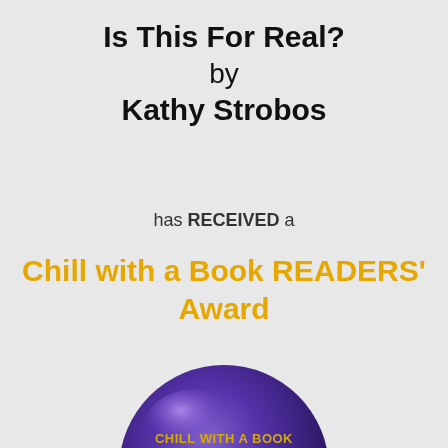Is This For Real? by Kathy Strobos
has RECEIVED a
Chill with a Book READERS' Award
[Figure (logo): Purple spherical badge with text 'CHILL WITH A BOOK' and illustration of champagne glasses with confetti streamers]